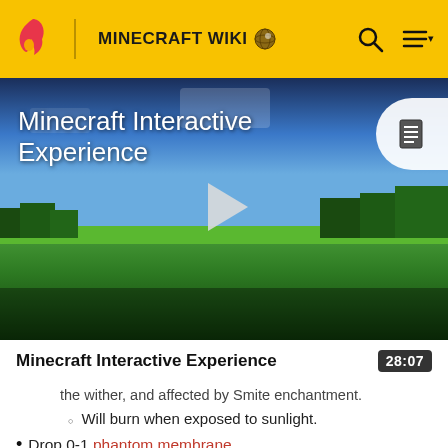MINECRAFT WIKI
[Figure (screenshot): Minecraft Interactive Experience video thumbnail showing a Minecraft landscape with grass and sky, with a play button in the center. Title overlay reads 'Minecraft Interactive Experience'.]
Minecraft Interactive Experience
the wither, and affected by Smite enchantment.
Will burn when exposed to sunlight.
Drop 0-1 phantom membrane.
Turtles